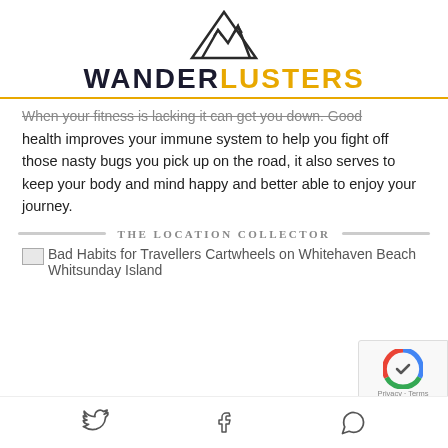[Figure (logo): Wanderlusters logo with mountain peak SVG icon above stylized text WANDER in dark navy and LUSTERS in gold/amber color]
When your fitness is lacking it can get you down. Good health improves your immune system to help you fight off those nasty bugs you pick up on the road, it also serves to keep your body and mind happy and better able to enjoy your journey.
THE LOCATION COLLECTOR
[Figure (photo): Bad Habits for Travellers Cartwheels on Whitehaven Beach Whitsunday Island]
Twitter | Facebook | WhatsApp social share icons